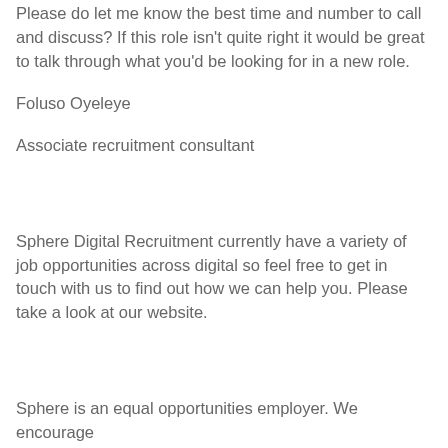Please do let me know the best time and number to call and discuss? If this role isn't quite right it would be great to talk through what you'd be looking for in a new role.
Foluso Oyeleye
Associate recruitment consultant
Sphere Digital Recruitment currently have a variety of job opportunities across digital so feel free to get in touch with us to find out how we can help you. Please take a look at our website.
Sphere is an equal opportunities employer. We encourage